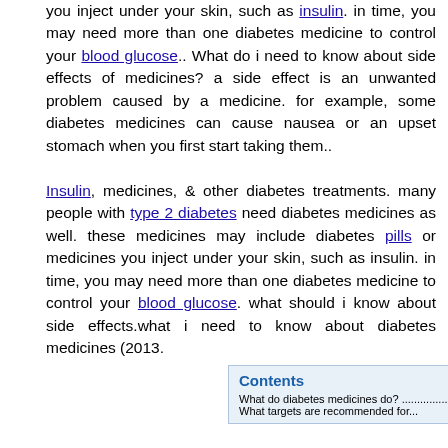you inject under your skin, such as insulin. in time, you may need more than one diabetes medicine to control your blood glucose.. What do i need to know about side effects of medicines? a side effect is an unwanted problem caused by a medicine. for example, some diabetes medicines can cause nausea or an upset stomach when you first start taking them..
Insulin, medicines, & other diabetes treatments. many people with type 2 diabetes need diabetes medicines as well. these medicines may include diabetes pills or medicines you inject under your skin, such as insulin. in time, you may need more than one diabetes medicine to control your blood glucose. what should i know about side effects.what i need to know about diabetes medicines (2013.
| Contents |
| --- |
| What do diabetes medicines do? ...................................... 1 |
| What targets are recommended for... |